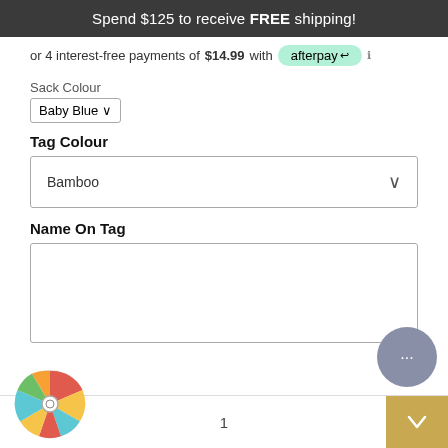Spend $125 to receive FREE shipping!
or 4 interest-free payments of $14.99 with afterpay
Sack Colour
Baby Blue
Tag Colour
Bamboo
Name On Tag
1